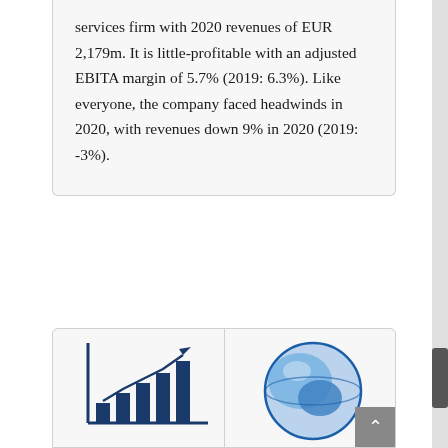services firm with 2020 revenues of EUR 2,179m. It is little-profitable with an adjusted EBITA margin of 5.7% (2019: 6.3%). Like everyone, the company faced headwinds in 2020, with revenues down 9% in 2020 (2019: -3%).
[Figure (illustration): Bar/line chart icon showing upward trend, representing financial growth]
[Figure (illustration): Globe or circular icon in blue tones, representing global or international services]